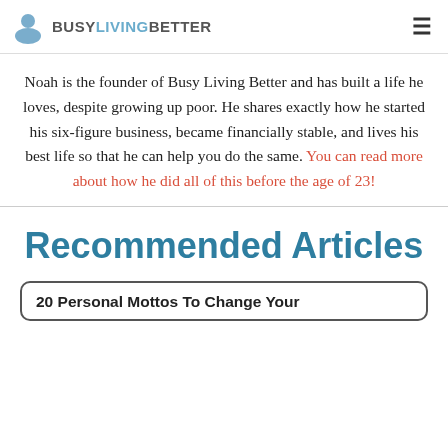BUSY LIVING BETTER
Noah is the founder of Busy Living Better and has built a life he loves, despite growing up poor. He shares exactly how he started his six-figure business, became financially stable, and lives his best life so that he can help you do the same. You can read more about how he did all of this before the age of 23!
Recommended Articles
20 Personal Mottos To Change Your